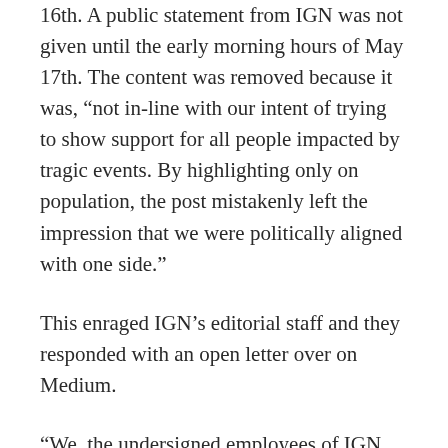16th. A public statement from IGN was not given until the early morning hours of May 17th. The content was removed because it was, “not in-line with our intent of trying to show support for all people impacted by tragic events. By highlighting only on population, the post mistakenly left the impression that we were politically aligned with one side.”
This enraged IGN’s editorial staff and they responded with an open letter over on Medium.
“We, the undersigned employees of IGN, are appalled by the recent management decision to subvert our editorial autonomy and remove our post directing aid to the Palestinian civilians currently suffering a humanitarian crisis in Gaza, the West Bank, and Jerusalem.”